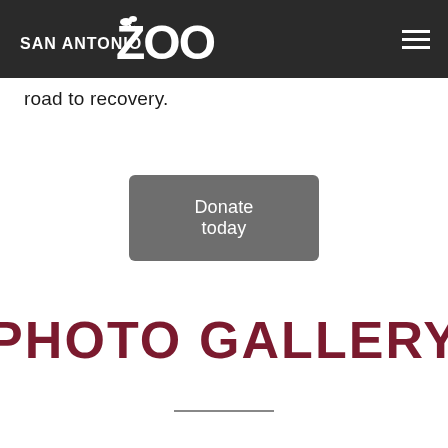San Antonio Zoo
road to recovery.
Donate today
PHOTO GALLERY